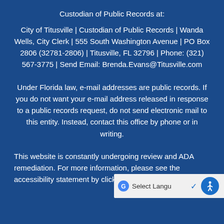Custodian of Public Records at:
City of Titusville | Custodian of Public Records | Wanda Wells, City Clerk | 555 South Washington Avenue | PO Box 2806 (32781-2806) | Titusville, FL 32796 | Phone: (321) 567-3775 | Send Email: Brenda.Evans@Titusville.com
Under Florida law, e-mail addresses are public records. If you do not want your e-mail address released in response to a public records request, do not send electronic mail to this entity. Instead, contact this office by phone or in writing.
This website is constantly undergoing review and ADA remediation. For more information, please see the accessibility statement by clicking h...